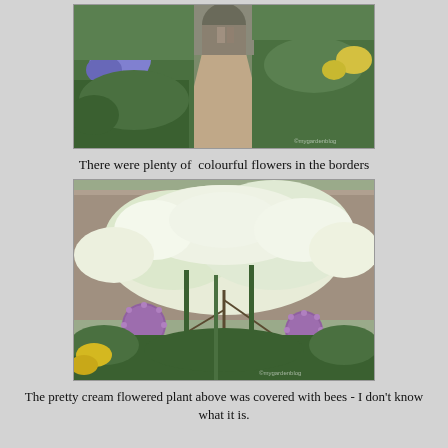[Figure (photo): Garden path with purple and blue flowers (irises/bluebells) on the left border and yellow flowers on the right, leading to a stone archway with two people visible in the distance.]
There were plenty of  colourful flowers in the borders
[Figure (photo): A cream-flowered plant (possibly a climbing shrub) covered in white blossoms against a stone wall, with large purple allium flower heads and yellow lily-like plants in the foreground.]
The pretty cream flowered plant above was covered with bees - I don't know what it is.